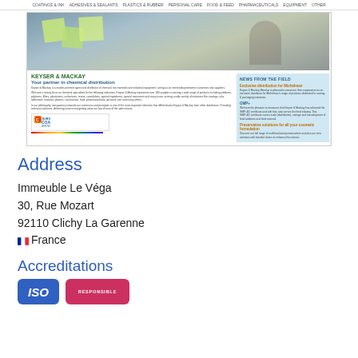COATINGS & INK | ADHESIVES & SEALANTS | PLASTICS & RUBBER | PERSONAL CARE | FOOD & FEED | PHARMACEUTICALS | EQUIPMENT | OTHER
[Figure (screenshot): Screenshot of Keyser & MacKay website showing a banner photo of a man looking at sticky notes, company info, and a news sidebar]
Address
Immeuble Le Véga
30, Rue Mozart
92110 Clichy La Garenne
France
Accreditations
[Figure (logo): ISO badge (blue rounded rectangle)]
[Figure (logo): RESPONSIBLE CARE badge (pink rounded rectangle)]